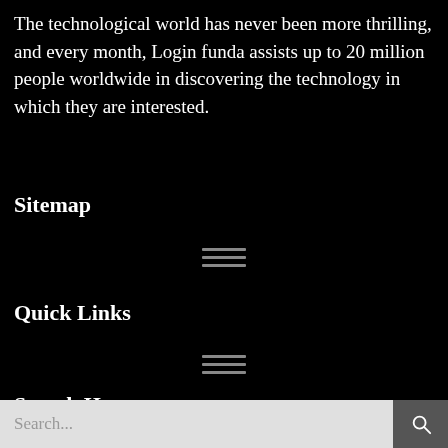The technological world has never been more thrilling, and every month, Login funda assists up to 20 million people worldwide in discovering the technology in which they are interested.
Sitemap
[Figure (other): Hamburger menu icon (three horizontal lines)]
Quick Links
[Figure (other): Hamburger menu icon (three horizontal lines)]
Search Here
Search...